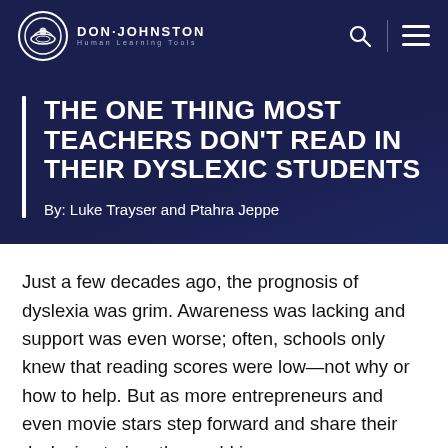DON·JOHNSTON Human Learning Tools
THE ONE THING MOST TEACHERS DON'T READ IN THEIR DYSLEXIC STUDENTS
By: Luke Trayser and Ptahra Jeppe
Just a few decades ago, the prognosis of dyslexia was grim. Awareness was lacking and support was even worse; often, schools only knew that reading scores were low—not why or how to help. But as more entrepreneurs and even movie stars step forward and share their dyslexia stories, the world is